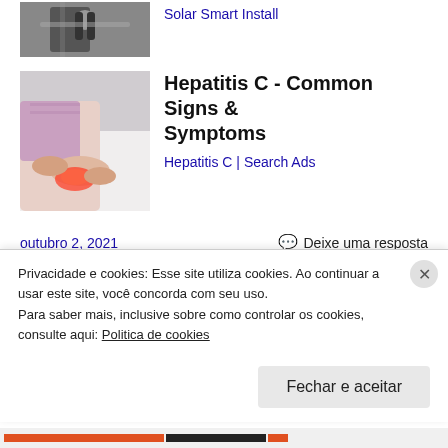[Figure (photo): Partial view of person at microphone with dark background - top ad image]
Solar Smart Install
[Figure (photo): Person holding/massaging an ankle or foot area with reddish highlight indicating pain]
Hepatitis C - Common Signs & Symptoms
Hepatitis C | Search Ads
outubro 2, 2021
Deixe uma resposta
Privacidade e cookies: Esse site utiliza cookies. Ao continuar a usar este site, você concorda com seu uso.
Para saber mais, inclusive sobre como controlar os cookies, consulte aqui: Politica de cookies
Fechar e aceitar